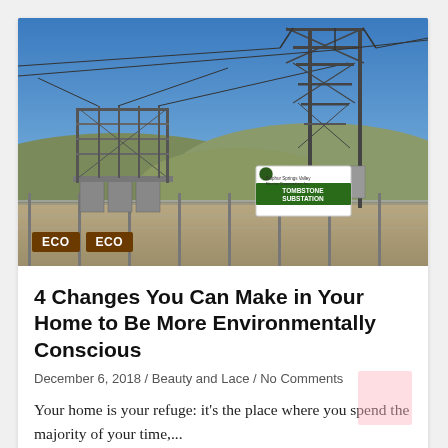[Figure (photo): Photograph of an electrical substation with power line towers under a clear blue sky. A green sign reads 'Tombstone Substation' with 'Sulphur Springs Valley Electric Cooperative Inc.' Two brown 'ECO' tag badges are overlaid at the bottom left of the image.]
4 Changes You Can Make in Your Home to Be More Environmentally Conscious
December 6, 2018 / Beauty and Lace / No Comments
Your home is your refuge: it's the place where you spend the majority of your time,...